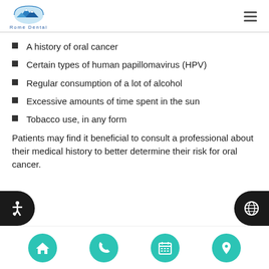Rome Dental
A history of oral cancer
Certain types of human papillomavirus (HPV)
Regular consumption of a lot of alcohol
Excessive amounts of time spent in the sun
Tobacco use, in any form
Patients may find it beneficial to consult a professional about their medical history to better determine their risk for oral cancer.
Home | Phone | Calendar | Location